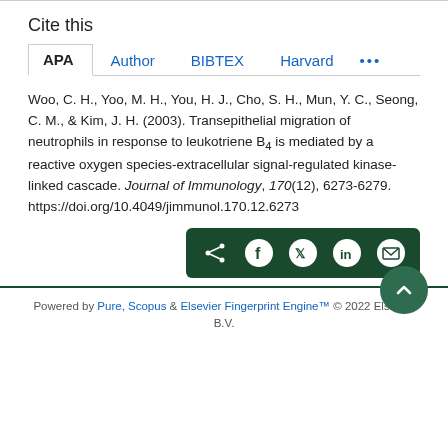Cite this
APA | Author | BIBTEX | Harvard | ...
Woo, C. H., Yoo, M. H., You, H. J., Cho, S. H., Mun, Y. C., Seong, C. M., & Kim, J. H. (2003). Transepithelial migration of neutrophils in response to leukotriene B4 is mediated by a reactive oxygen species-extracellular signal-regulated kinase-linked cascade. Journal of Immunology, 170(12), 6273-6279. https://doi.org/10.4049/jimmunol.170.12.6273
[Figure (other): Social share buttons bar with icons for share, Facebook, Twitter, LinkedIn, and email on dark green background]
Powered by Pure, Scopus & Elsevier Fingerprint Engine™ © 2022 Elsevier B.V.